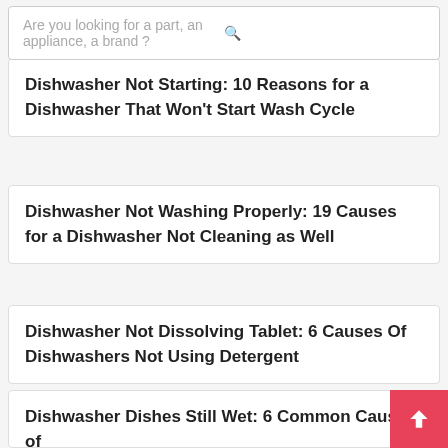Are you looking for a part, an appliance, a brand ?
Dishwasher Not Starting: 10 Reasons for a Dishwasher That Won't Start Wash Cycle
Dishwasher Not Washing Properly: 19 Causes for a Dishwasher Not Cleaning as Well
Dishwasher Not Dissolving Tablet: 6 Causes Of Dishwashers Not Using Detergent
Dishwasher Dishes Still Wet: 6 Common Causes of